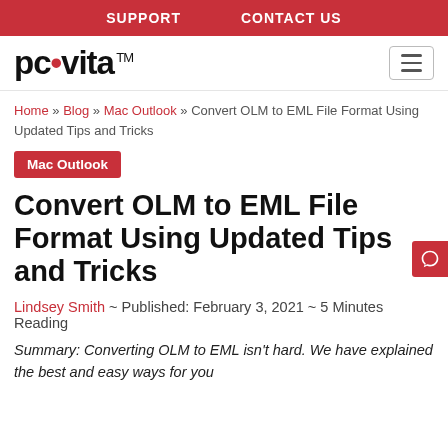SUPPORT   CONTACT US
[Figure (logo): pcvita logo with red dot and TM superscript, plus hamburger menu icon]
Home » Blog » Mac Outlook » Convert OLM to EML File Format Using Updated Tips and Tricks
Mac Outlook
Convert OLM to EML File Format Using Updated Tips and Tricks
Lindsey Smith ~ Published: February 3, 2021 ~ 5 Minutes Reading
Summary: Converting OLM to EML isn't hard. We have explained the best and easy ways for you